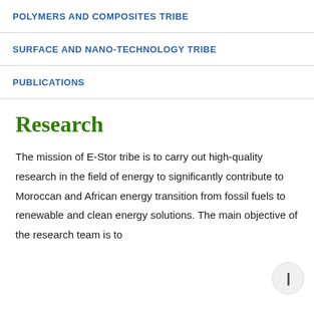POLYMERS AND COMPOSITES TRIBE
SURFACE AND NANO-TECHNOLOGY TRIBE
PUBLICATIONS
Research
The mission of E-Stor tribe is to carry out high-quality research in the field of energy to significantly contribute to Moroccan and African energy transition from fossil fuels to renewable and clean energy solutions. The main objective of the research team is to